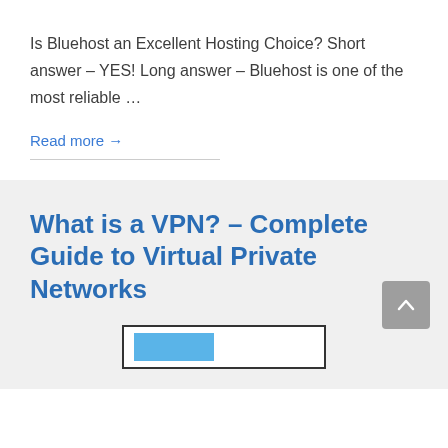Is Bluehost an Excellent Hosting Choice? Short answer – YES! Long answer – Bluehost is one of the most reliable …
Read more →
What is a VPN? – Complete Guide to Virtual Private Networks
[Figure (other): Partial image preview at bottom of page with blue rectangle element visible]